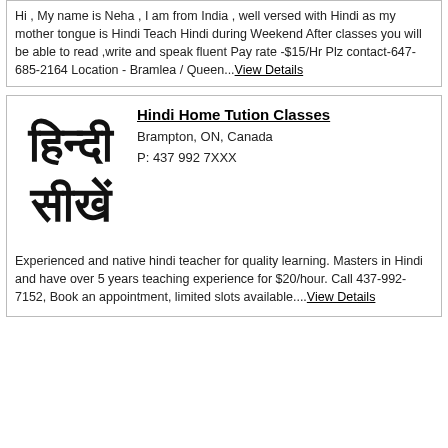Hi , My name is Neha , I am from India , well versed with Hindi as my mother tongue is Hindi Teach Hindi during Weekend After classes you will be able to read ,write and speak fluent Pay rate -$15/Hr Plz contact-647-685-2164 Location - Bramlea / Queen....View Details
[Figure (illustration): Hindi text logo showing Devanagari script for 'Hindi Seekho' (Learn Hindi)]
Hindi Home Tution Classes
Brampton, ON, Canada
P: 437 992 7XXX
Experienced and native hindi teacher for quality learning. Masters in Hindi and have over 5 years teaching experience for $20/hour. Call 437-992-7152, Book an appointment, limited slots available....View Details